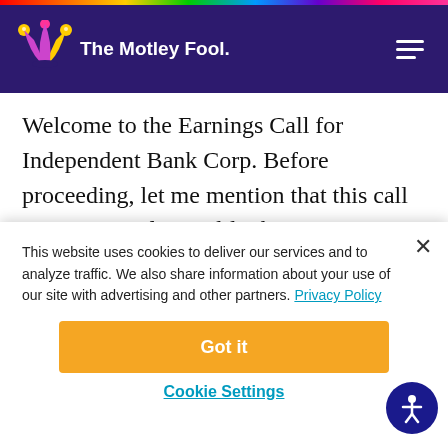[Figure (logo): The Motley Fool logo with jester hat in dark purple header bar]
Welcome to the Earnings Call for Independent Bank Corp. Before proceeding, let me mention that this call may contain forward-looking statements with respect to the financial condition, results of operations and business of Independent
This website uses cookies to deliver our services and to analyze traffic. We also share information about your use of our site with advertising and other partners. Privacy Policy
Got it
Cookie Settings